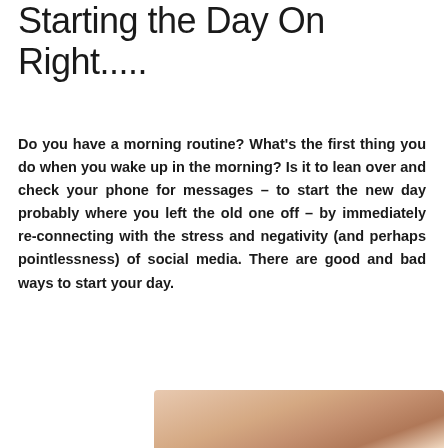Starting the Day On Right.....
Do you have a morning routine? What's the first thing you do when you wake up in the morning? Is it to lean over and check your phone for messages – to start the new day probably where you left the old one off – by immediately re-connecting with the stress and negativity (and perhaps pointlessness) of social media. There are good and bad ways to start your day.
[Figure (photo): A person in a relaxed or morning setting, appearing to be a woman, cropped photo at the bottom of the page]